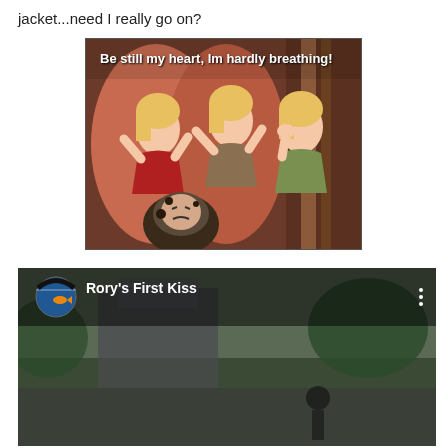jacket...need I really go on?
[Figure (illustration): Disney animation still showing three excited blonde women with the caption 'Be still my heart, Im hardly breathing!' overlaid in white text. A grumpy character is visible at the bottom.]
[Figure (screenshot): Video thumbnail or social media post showing 'Rory's First Kiss' with a circular avatar showing an aquarium/fish scene, and a blurry outdoor scene in the background.]